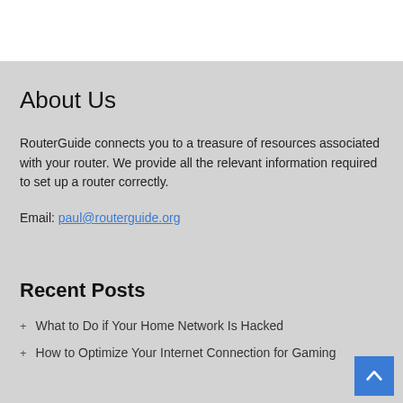About Us
RouterGuide connects you to a treasure of resources associated with your router. We provide all the relevant information required to set up a router correctly.
Email: paul@routerguide.org
Recent Posts
What to Do if Your Home Network Is Hacked
How to Optimize Your Internet Connection for Gaming